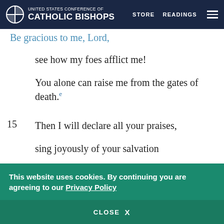United States Conference of Catholic Bishops — STORE READINGS
Be gracious to me, Lord,
see how my foes afflict me!
You alone can raise me from the gates of death.[e]
15 Then I will declare all your praises,
sing joyously of your salvation
in the gates of daughter Zion.[*]
This website uses cookies. By continuing you are agreeing to our Privacy Policy
CLOSE X